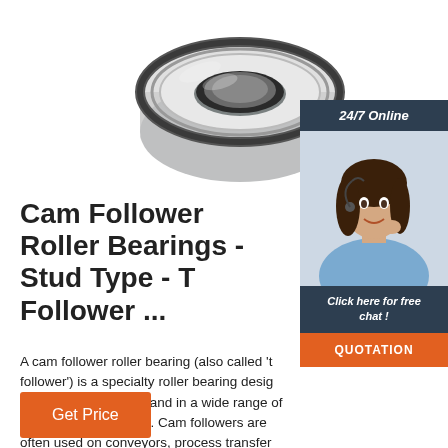[Figure (photo): Ball bearing / cam follower roller bearing photo, top portion visible, metallic silver color]
[Figure (photo): 24/7 Online customer service sidebar with woman wearing headset, chat button, and quotation button]
Cam Follower Roller Bearings - Stud Type - T Follower ...
A cam follower roller bearing (also called 't follower') is a specialty roller bearing desig follow tracks or cams and in a wide range linear motion systems. Cam followers are often used on conveyors, process transfer lines, such as those used int industries such as ...
Get Price